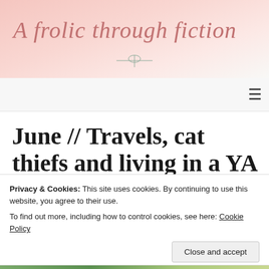A frolic through fiction
June // Travels, cat thiefs and living in a YA contemporary
Privacy & Cookies: This site uses cookies. By continuing to use this website, you agree to their use.
To find out more, including how to control cookies, see here: Cookie Policy
Close and accept
[Figure (photo): Bottom portion of page showing greenery/outdoor photo strip]